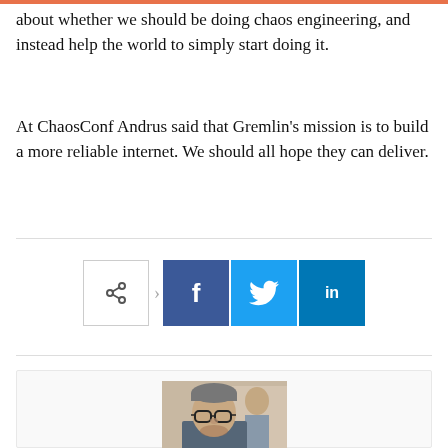about whether we should be doing chaos engineering, and instead help the world to simply start doing it.
At ChaosConf Andrus said that Gremlin's mission is to build a more reliable internet. We should all hope they can deliver.
[Figure (infographic): Social share buttons: a share icon button, Facebook button (f), Twitter button (bird icon), LinkedIn button (in)]
[Figure (photo): Author headshot: a man wearing glasses and a beanie hat, looking at camera, in a indoor setting]